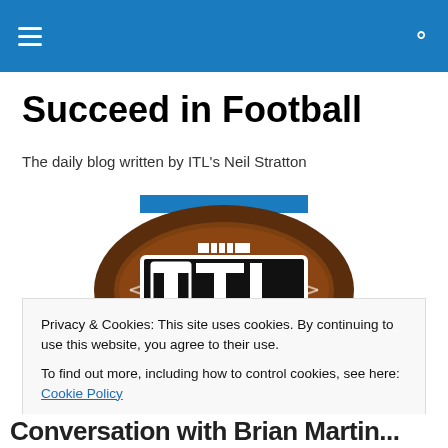Succeed in Football - navigation bar
Succeed in Football
The daily blog written by ITL's Neil Stratton
[Figure (logo): Football logo with 'ITL' text on a football, brown and black colors with white lettering, blue background at top]
Privacy & Cookies: This site uses cookies. By continuing to use this website, you agree to their use.
To find out more, including how to control cookies, see here: Cookie Policy
Close and accept
Conversation with Brian Martin...